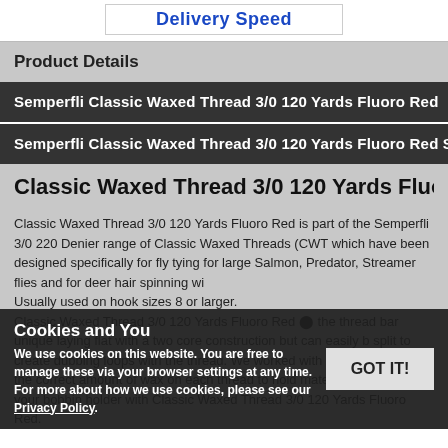Delivery Speed
Product Details
Semperfli Classic Waxed Thread 3/0 120 Yards Fluoro Red
Semperfli Classic Waxed Thread 3/0 120 Yards Fluoro Red Specifications
Classic Waxed Thread 3/0 120 Yards Fluoro Red
Classic Waxed Thread 3/0 120 Yards Fluoro Red is part of the Semperfli 3/0 220 Denier range of Classic Waxed Threads (CWT) which have been designed specifically for fly tying for large Salmon, Predator, Streamer flies and for deer hair spinning with. Usually used on hook sizes 8 or larger. Classic Waxed Thread 3/0 120 Yards Fluoro Red the thread bar unique laying flat with a two core construction but can easily be split to create dubbing loops with the thread. We worked with bobro team to get the correct amount of wax on each thread to hold materials but not clog your bobbin holder with Classic Waxed Thread 3/0 120 Yards Fluoro Red.
Cookies and You
We use cookies on this website. You are free to manage these via your browser settings at any time. For more about how we use cookies, please see our Privacy Policy.
GOT IT!